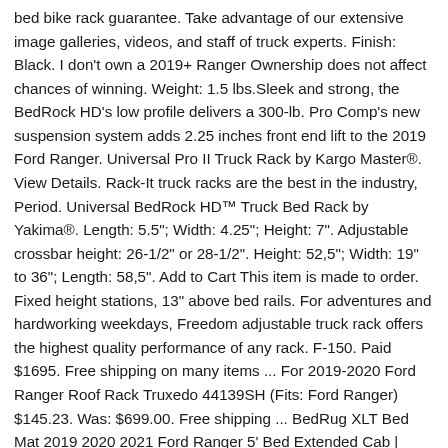bed bike rack guarantee. Take advantage of our extensive image galleries, videos, and staff of truck experts. Finish: Black. I don't own a 2019+ Ranger Ownership does not affect chances of winning. Weight: 1.5 lbs.Sleek and strong, the BedRock HD's low profile delivers a 300-lb. Pro Comp's new suspension system adds 2.25 inches front end lift to the 2019 Ford Ranger. Universal Pro II Truck Rack by Kargo Master®. View Details. Rack-It truck racks are the best in the industry, Period. Universal BedRock HD™ Truck Bed Rack by Yakima®. Length: 5.5"; Width: 4.25"; Height: 7". Adjustable crossbar height: 26-1/2" or 28-1/2". Height: 52,5"; Width: 19" to 36"; Length: 58,5". Add to Cart This item is made to order. Fixed height stations, 13" above bed rails. For adventures and hardworking weekdays, Freedom adjustable truck rack offers the highest quality performance of any rack. F-150. Paid $1695. Free shipping on many items ... For 2019-2020 Ford Ranger Roof Rack Truxedo 44139SH (Fits: Ford Ranger) $145.23. Was: $699.00. Free shipping ... BedRug XLT Bed Mat 2019 2020 2021 Ford Ranger 5' Bed Extended Cab | XLTBMR19DCS. Compatible with most T-slot accessories from Rhino Rack, Yakima, Thule, and many more. The ADARAC Aluminum M-Series is built with a low-profile steel...